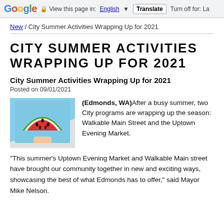Google  View this page in: English [▼]  Translate  Turn off for: La
New / City Summer Activities Wrapping Up for 2021
CITY SUMMER ACTIVITIES WRAPPING UP FOR 2021
City Summer Activities Wrapping Up for 2021
Posted on 09/01/2021
[Figure (photo): A hand holding a slice of watermelon against a blue sky background]
(Edmonds, WA)After a busy summer, two City programs are wrapping up the season: Walkable Main Street and the Uptown Evening Market.
“This summer’s Uptown Evening Market and Walkable Main street have brought our community together in new and exciting ways, showcasing the best of what Edmonds has to offer,” said Mayor Mike Nelson.